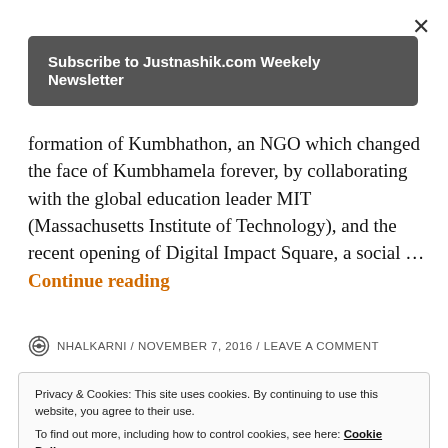×
[Figure (other): Subscribe to Justnashik.com Weekely Newsletter button (dark grey rounded rectangle)]
formation of Kumbhathon, an NGO which changed the face of Kumbhamela forever, by collaborating with the global education leader MIT (Massachusetts Institute of Technology), and the recent opening of Digital Impact Square, a social … Continue reading
NHALKARNI / NOVEMBER 7, 2016 / LEAVE A COMMENT
Privacy & Cookies: This site uses cookies. By continuing to use this website, you agree to their use.
To find out more, including how to control cookies, see here: Cookie Policy
Close and accept